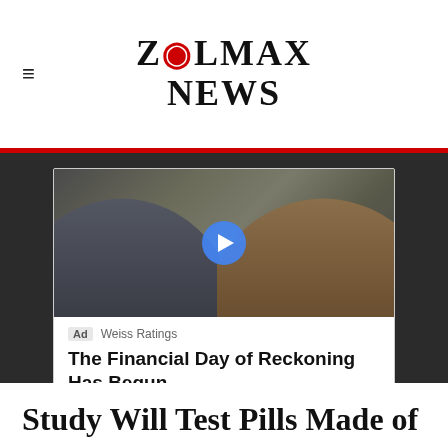ZOLMAX NEWS
[Figure (photo): Video thumbnail showing two men seated, with a blue play button overlay. Left man in dark jacket, right man in brown jacket.]
Ad  Weiss Ratings
The Financial Day of Reckoning Has Begun
You always knew a day of reckoning would come. No civilization can go on piling up...
Study Will Test Pills Made of